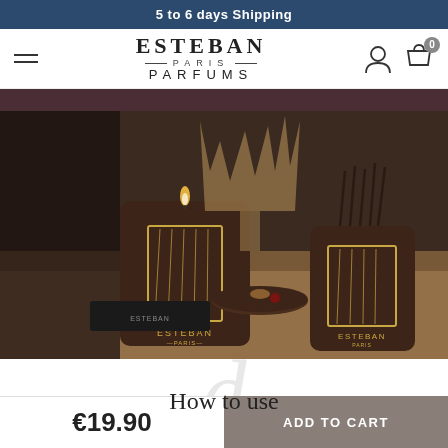5 to 6 days Shipping
[Figure (logo): Esteban Paris Parfums logo with hamburger menu and cart icon]
[Figure (photo): Esteban Paris branded candles and diffuser products on a wooden surface, dark brown containers with gold logo design]
How to use
€19.90
ADD TO CART